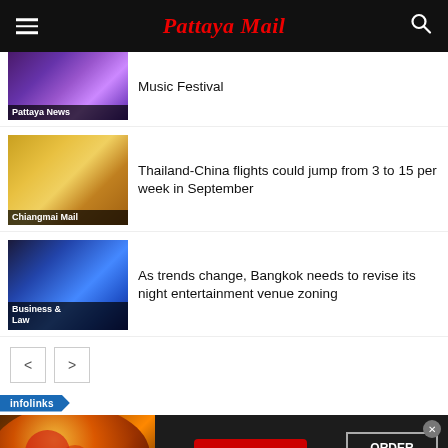Pattaya Mail
Music Festival
Pattaya News
Thailand-China flights could jump from 3 to 15 per week in September
Chiangmai Mail
As trends change, Bangkok needs to revise its night entertainment venue zoning
Business & Law
[Figure (screenshot): Pagination buttons with left and right arrows]
[Figure (infographic): Infolinks badge and Seamless food delivery advertisement banner with pizza image, seamless red button, and ORDER NOW button]